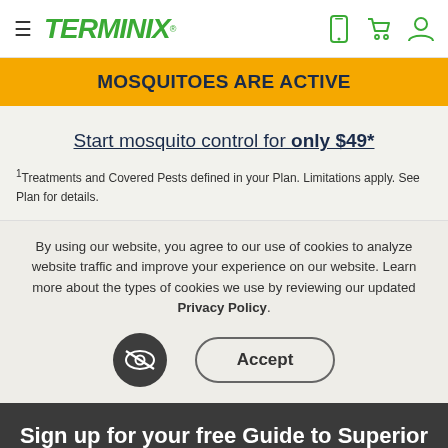[Figure (logo): Terminix website navigation bar with hamburger menu, Terminix green logo, mobile icon, shopping cart icon, and user account icon]
MOSQUITOES ARE ACTIVE
Start mosquito control for only $49*
1Treatments and Covered Pests defined in your Plan. Limitations apply. See Plan for details.
By using our website, you agree to our use of cookies to analyze website traffic and improve your experience on our website. Learn more about the types of cookies we use by reviewing our updated Privacy Policy.
Accept
Sign up for your free Guide to Superior Home Protection